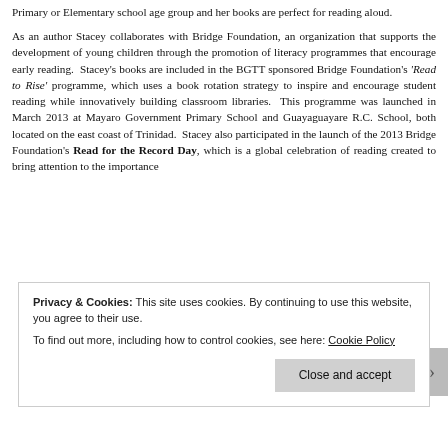Primary or Elementary school age group and her books are perfect for reading aloud.
As an author Stacey collaborates with Bridge Foundation, an organization that supports the development of young children through the promotion of literacy programmes that encourage early reading.  Stacey's books are included in the BGTT sponsored Bridge Foundation's 'Read to Rise' programme, which uses a book rotation strategy to inspire and encourage student reading while innovatively building classroom libraries.  This programme was launched in March 2013 at Mayaro Government Primary School and Guayaguayare R.C. School, both located on the east coast of Trinidad.  Stacey also participated in the launch of the 2013 Bridge Foundation's Read for the Record Day, which is a global celebration of reading created to bring attention to the importance
Privacy & Cookies: This site uses cookies. By continuing to use this website, you agree to their use.
To find out more, including how to control cookies, see here: Cookie Policy